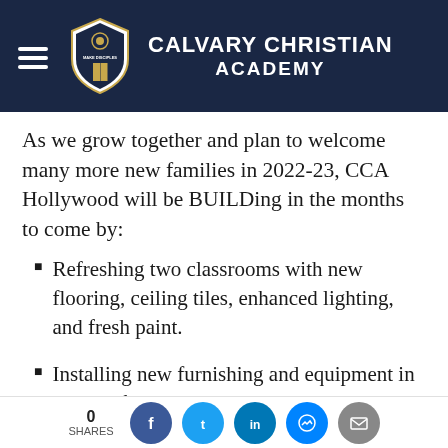Calvary Christian Academy
As we grow together and plan to welcome many more new families in 2022-23, CCA Hollywood will be BUILDing in the months to come by:
Refreshing two classrooms with new flooring, ceiling tiles, enhanced lighting, and fresh paint.
Installing new furnishing and equipment in the 2nd floor
0 SHARES